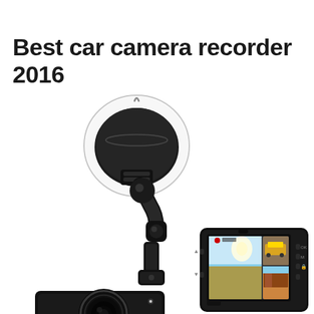Best car camera recorder 2016
[Figure (photo): Product photo of a CHORTAU dashcam car camera recorder. Shows the camera mounted on a suction cup windshield mount on the left, and a separate view of the dashcam device showing its LCD screen displaying road footage and a split-screen with a yellow car, on the right. The camera body has CHORTAU branding visible at the bottom.]